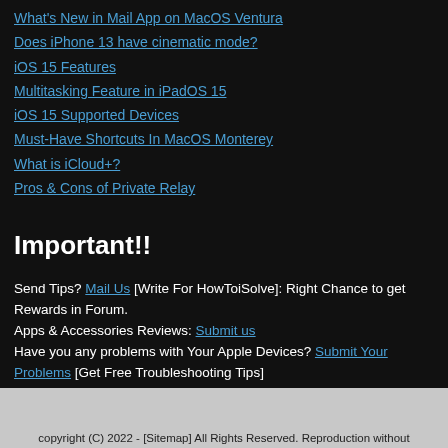What's New in Mail App on MacOS Ventura
Does iPhone 13 have cinematic mode?
iOS 15 Features
Multitasking Feature in iPadOS 15
iOS 15 Supported Devices
Must-Have Shortcuts In MacOS Monterey
What is iCloud+?
Pros & Cons of Private Relay
Important!!
Send Tips? Mail Us [Write For HowToiSolve]: Right Chance to get Rewards in Forum.
Apps & Accessories Reviews: Submit us
Have you any problems with Your Apple Devices? Submit Your Problems [Get Free Troubleshooting Tips]
HIS Disclaimers. . .As an Amazon Associate, I earn from Qualifying Purchases. Howtoisolve is not subordinate or connected with Apple Inc.
copyright (C) 2022 - [Sitemap] All Rights Reserved. Reproduction without